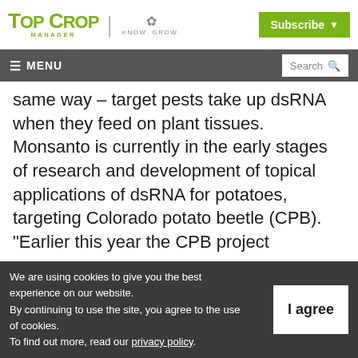Top Crop Manager | Know. Grow.
Subscribe
≡ MENU | Search
same way – target pests take up dsRNA when they feed on plant tissues. Monsanto is currently in the early stages of research and development of topical applications of dsRNA for potatoes, targeting Colorado potato beetle (CPB). "Earlier this year the CPB project advanced to phase 2 of product development."
We are using cookies to give you the best experience on our website.
By continuing to use the site, you agree to the use of cookies.
To find out more, read our privacy policy.